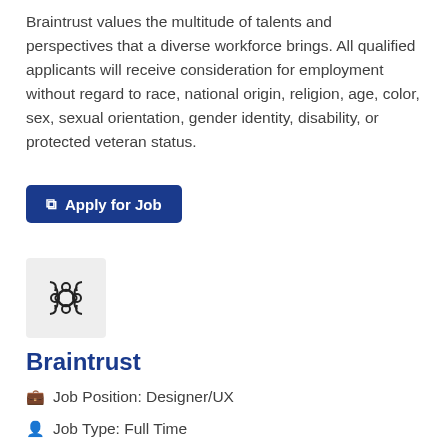Braintrust values the multitude of talents and perspectives that a diverse workforce brings. All qualified applicants will receive consideration for employment without regard to race, national origin, religion, age, color, sex, sexual orientation, gender identity, disability, or protected veteran status.
[Figure (logo): Braintrust company logo — circular geometric pattern on light grey background]
Braintrust
🧳 Job Position: Designer/UX
🪪 Job Type: Full Time